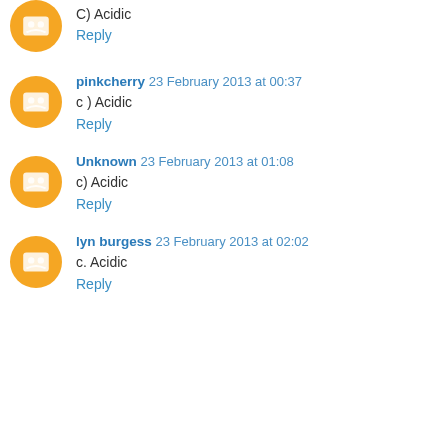C) Acidic
Reply
pinkcherry 23 February 2013 at 00:37
c ) Acidic
Reply
Unknown 23 February 2013 at 01:08
c) Acidic
Reply
lyn burgess 23 February 2013 at 02:02
c. Acidic
Reply